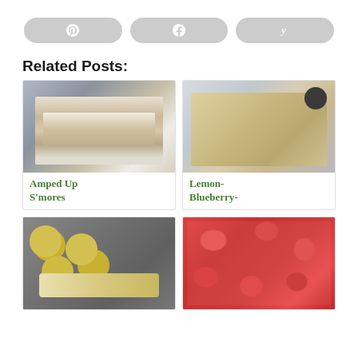[Figure (infographic): Three social share buttons: Pinterest (P circle icon), Facebook (f icon), and Yummly (y icon), styled as rounded gray pill buttons]
Related Posts:
[Figure (photo): Stack of Amped Up S'mores with marshmallow and chocolate drizzle, glass of milk in background]
Amped Up S'mores
[Figure (photo): Sliced lemon blueberry loaf bread with blueberries on top, on parchment paper]
Lemon-Blueberry-
[Figure (photo): Lemon cookies/shortbread bars on a wire cooling rack with powdered sugar and lemon slices]
[Figure (photo): Fresh sliced strawberries arranged on a white surface with herbs]